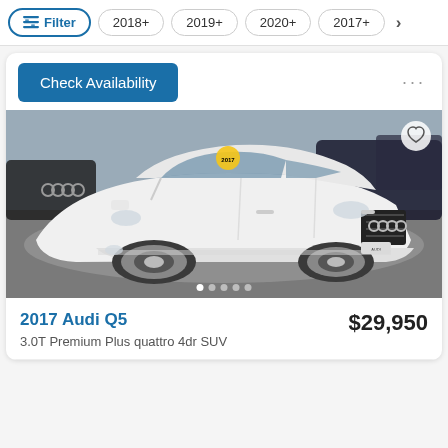Filter  2018+  2019+  2020+  2017+  >
Check Availability
[Figure (photo): White 2017 Audi Q5 SUV parked at a dealership lot, front three-quarter view, with other Audi vehicles visible in the background. A yellow price tag sticker is visible on the windshield. Image carousel dots visible at the bottom.]
2017 Audi Q5
$29,950
3.0T Premium Plus quattro 4dr SUV